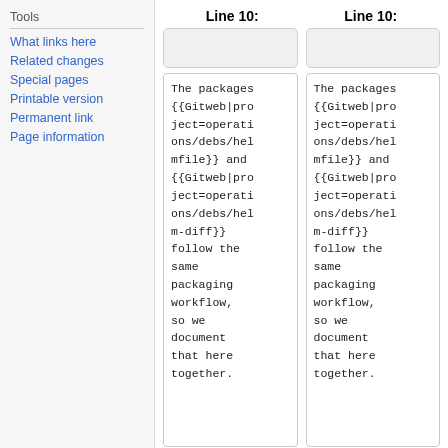Tools
What links here
Related changes
Special pages
Printable version
Permanent link
Page information
Line 10:
Line 10:
The packages {{Gitweb|project=operations/debs/helmfile}} and {{Gitweb|project=operations/debs/helm-diff}} follow the same packaging workflow, so we document that here together.
The packages {{Gitweb|project=operations/debs/helmfile}} and {{Gitweb|project=operations/debs/helm-diff}} follow the same packaging workflow, so we document that here together.